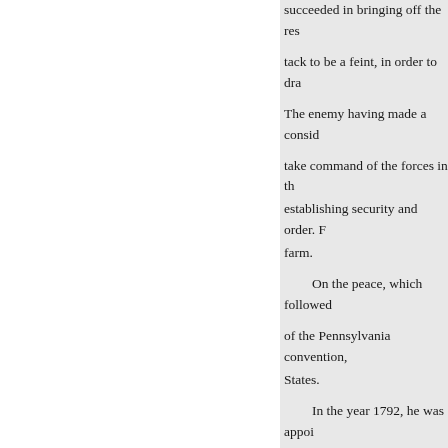succeeded in bringing off the res- tack to be a feint, in order to dra- The enemy having made a consid- take command of the forces in th- establishing security and order. F- farm. On the peace, which followed of the Pennsylvania convention, States. In the year 1792, he was appo- army engaged against the Indians such exemplary discipline was in- country, they appeared like veter- The Indians had collected in grea- country by a chain of posts, that regular and systematic mode of a- in the wilderness, called Greensv- encamp for the winter, in order to early in the following spring. Aft- Americans had been defeated in piously collected, and, with the h-